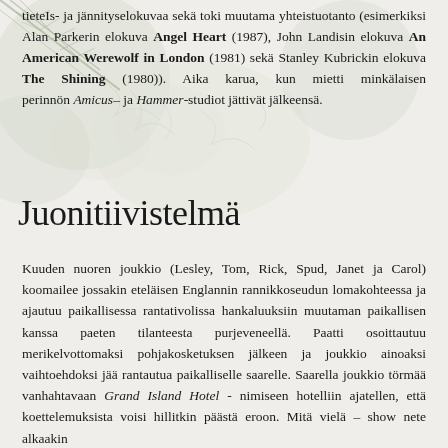tieteIs- ja jännityselokuvaa sekä toki muutama yhteistuotanto (esimerkiksi Alan Parkerin elokuva Angel Heart (1987), John Landisin elokuva An American Werewolf in London (1981) sekä Stanley Kubrickin elokuva The Shining (1980)). Aika karua, kun mietti minkälaisen perinnön Amicus– ja Hammer-studiot jättivät jälkeensä.
Juonitiivistelmä
Kuuden nuoren joukkio (Lesley, Tom, Rick, Spud, Janet ja Carol) koomailee jossakin eteläisen Englannin rannikkoseudun lomakohteessa ja ajautuu paikallisessa rantativolissa hankaluuksiin muutaman paikallisen kanssa paeten tilanteesta purjeveneellä. Paatti osoittautuu merikelvottomaksi pohjakosketuksen jälkeen ja joukkio ainoaksi vaihtoehdoksi jää rantautua paikalliselle saarelle. Saarella joukkio törmää vanhahtavaan Grand Island Hotel - nimiseen hotelliin ajatellen, että koettelemuksista voisi hillitkin päästä eroon. Mitä vielä – show nete alkaakin